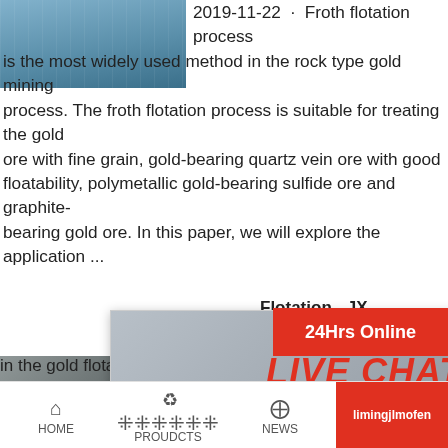[Figure (photo): Industrial facility/plant photo, top left corner]
2019-11-22 · Froth flotation process is the most widely used method in the rock type gold mining process. The froth flotation process is suitable for treating the gold ore with fine grain, gold-bearing quartz vein ore with good floatability, polymetallic gold-bearing sulfide ore and graphite-bearing gold ore. In this paper, we will explore the application ...
[Figure (photo): Live Chat popup overlay with workers in hard hats and a customer service agent with headset. Contains LIVE CHAT heading, 'Click for a Free Consultation', Chat now and Chat later buttons.]
24Hrs Online
[Figure (photo): Mining/construction equipment photo, bottom left]
Flotation - JX...
2022-1-14 · JXSC... equipment since 1... in the gold flotation processing, gold washing pla...
Need questions & suggestion?
Chat Now
Enquiry
limingjlmofen
HOME    PROUDCTS    NEWS    limingjlmofen